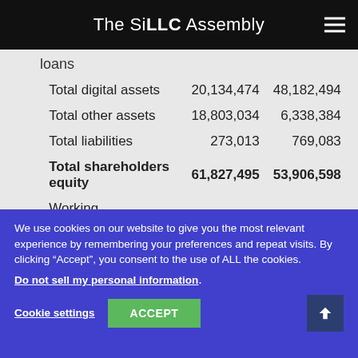The SiLLC Assembly
|  | Col1 | Col2 |
| --- | --- | --- |
| loans |  |  |
| Total digital assets | 20,134,474 | 48,182,494 |
| Total other assets | 18,803,034 | 6,338,384 |
| Total liabilities | 273,013 | 769,083 |
| Total shareholders equity | 61,827,495 | 53,906,598 |
| Working capital**** | 30,018,714 | 36,141,081 |
We use cookies on our website to give you the most relevant experience by remembering your preferences and repeat visits. By clicking “Accept”, you consent to the use of ALL the cookies.
Do not sell my personal information.
Cookie settings  ACCEPT